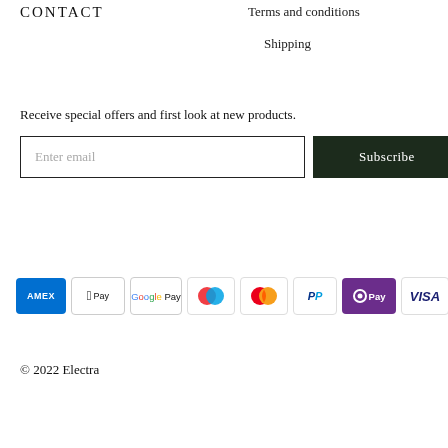CONTACT
Terms and conditions
Shipping
Receive special offers and first look at new products.
Enter email | Subscribe
[Figure (other): Payment method icons: American Express, Apple Pay, Google Pay, Maestro, Mastercard, PayPal, OPay, Visa]
© 2022 Electra